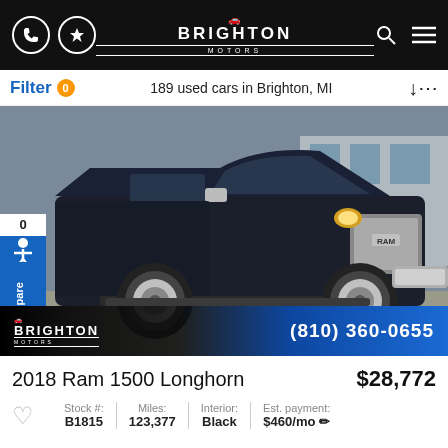Brighton Motors — 189 used cars in Brighton, MI
Filter 0   189 used cars in Brighton, MI
[Figure (photo): 2018 Ram 1500 Longhorn truck, dark navy/black color, photographed from the driver side in a dealership lot. Chrome trim and large chrome wheels visible. Brighton Motors logo and phone number (810) 360-0655 overlaid at the bottom.]
2018 Ram 1500 Longhorn   $28,772
Stock #: B1815   Miles: 123,377   Interior: Black   Est. payment: $460/mo